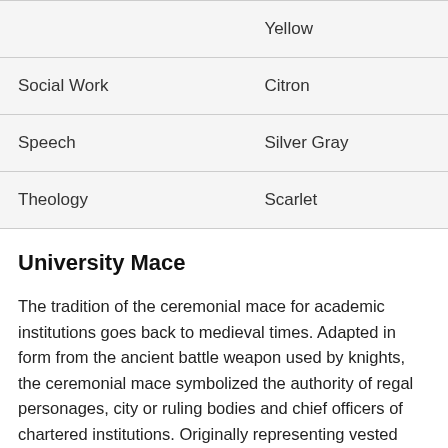| Field | Color |
| --- | --- |
|  | Yellow |
| Social Work | Citron |
| Speech | Silver Gray |
| Theology | Scarlet |
University Mace
The tradition of the ceremonial mace for academic institutions goes back to medieval times. Adapted in form from the ancient battle weapon used by knights, the ceremonial mace symbolized the authority of regal personages, city or ruling bodies and chief officers of chartered institutions. Originally representing vested authority during all official meetings, it